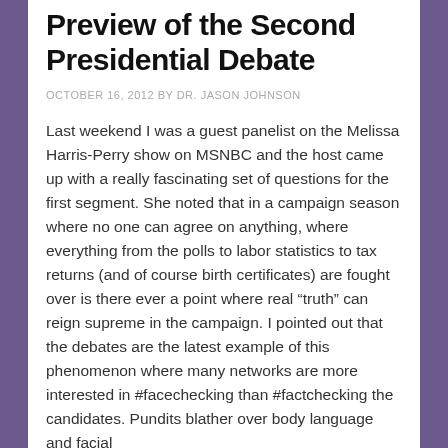Preview of the Second Presidential Debate
OCTOBER 16, 2012 BY DR. JASON JOHNSON
Last weekend I was a guest panelist on the Melissa Harris-Perry show on MSNBC and the host came up with a really fascinating set of questions for the first segment. She noted that in a campaign season where no one can agree on anything, where everything from the polls to labor statistics to tax returns (and of course birth certificates) are fought over is there ever a point where real “truth” can reign supreme in the campaign. I pointed out that the debates are the latest example of this phenomenon where many networks are more interested in #facechecking than #factchecking the candidates. Pundits blather over body language and facial